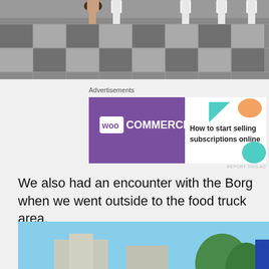[Figure (photo): Top portion of an indoor photo showing people's feet and legs on a tiled floor]
Advertisements
[Figure (other): WooCommerce advertisement banner: 'How to start selling subscriptions online']
We also had an encounter with the Borg when we went outside to the food truck area.
[Figure (photo): Outdoor photo of four people posing at what appears to be a convention, one dressed in a Borg costume, with food trucks and crowd in background]
Advertisements